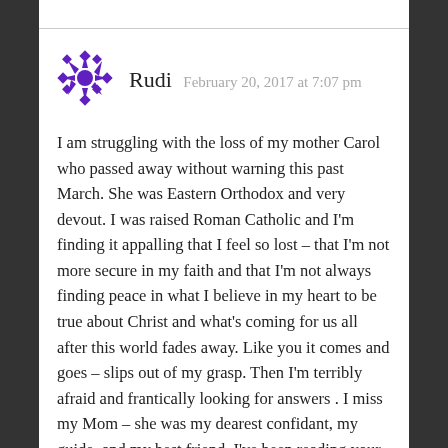[Figure (illustration): Purple decorative snowflake or mandala avatar icon]
Rudi  February 20, 2017 at 7:07 pm
I am struggling with the loss of my mother Carol who passed away without warning this past March. She was Eastern Orthodox and very devout. I was raised Roman Catholic and I'm finding it appalling that I feel so lost – that I'm not more secure in my faith and that I'm not always finding peace in what I believe in my heart to be true about Christ and what's coming for us all after this world fades away. Like you it comes and goes – slips out of my grasp. Then I'm terribly afraid and frantically looking for answers . I miss my Mom – she was my dearest confidant, my guide, and my best friend. I've been reading your blog and it has helped tremendously in trying to wrap my head around things. Thank you